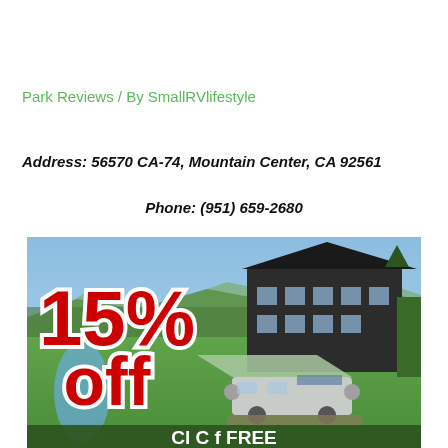Park Reviews / By SmallRVlifestyle
Address: 56570 CA-74, Mountain Center, CA 92561
Phone: (951) 659-2680
[Figure (photo): Aerial promotional photo of a campground/RV park showing a large dark wooden lodge building, green lawn, an Airstream RV with awning, surrounded by trees and hills. Overlaid with large red and white text reading '15% off' and partially visible text at the bottom.]